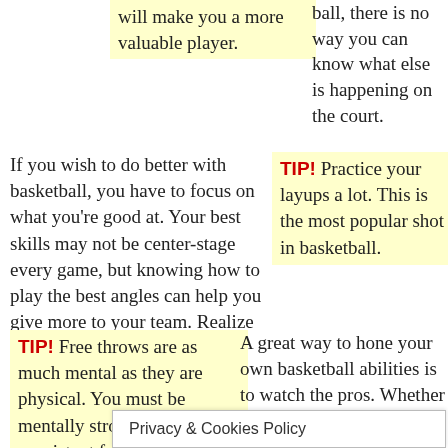will make you a more valuable player.
ball, there is no way you can know what else is happening on the court.
If you wish to do better with basketball, you have to focus on what you're good at. Your best skills may not be center-stage every game, but knowing how to play the best angles can help you give more to your team. Realize your limitations, and roll with your talents.
TIP! Practice your layups a lot. This is the most popular shot in basketball.
TIP! Free throws are as much mental as they are physical. You must be mentally strong to be a consistent free throw shooter.
A great way to hone your own basketball abilities is to watch the pros. Whether seeing an all-pro on YouTube, attending a game in person, or sitting on
Privacy & Cookies Policy